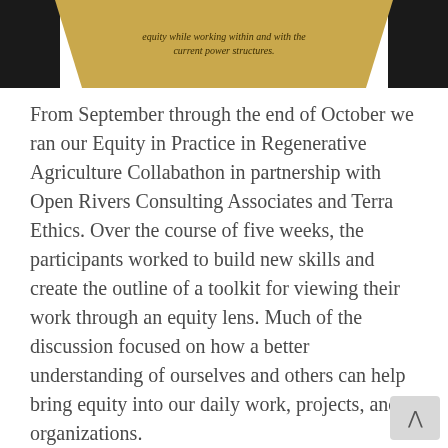[Figure (infographic): Gold banner/ribbon graphic with dark text partially visible at top of page, flanked by black panels on left and right. Text reads about equity while working within and with the current power structures.]
From September through the end of October we ran our Equity in Practice in Regenerative Agriculture Collabathon in partnership with Open Rivers Consulting Associates and Terra Ethics. Over the course of five weeks, the participants worked to build new skills and create the outline of a toolkit for viewing their work through an equity lens. Much of the discussion focused on how a better understanding of ourselves and others can help bring equity into our daily work, projects, and organizations.
Equity, as contextualized by the OpenTEAM Equity Working Group, is defined as a